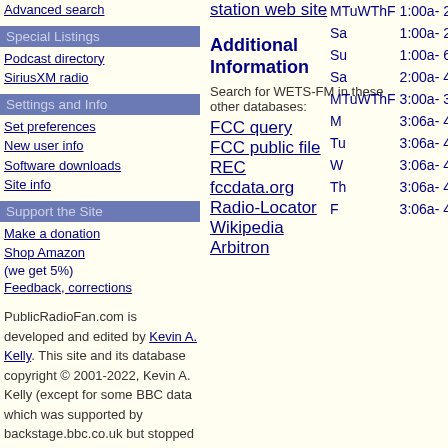Advanced search
Special Listings
Podcast directory
SiriusXM radio
Settings and Info
Set preferences
New user info
Software downloads
Site info
Support the Site
Make a donation
Shop Amazon (we get 5%)
Feedback, corrections
PublicRadioFan.com is developed and edited by Kevin A. Kelly. This site and its database copyright © 2001-2022, Kevin A. Kelly (except for some BBC data which was supported by backstage.bbc.co.uk but stopped updating mid-2017)
station web site
Additional Information
Search for WETS-FM in these other databases:
FCC query
FCC public file
REC
fccdata.org
Radio-Locator
Wikipedia
Arbitron
| Day | Time |
| --- | --- |
| MTuWThF | 1:00a- 2:00a |
| Sa | 1:00a- 2:00a |
| Su | 1:00a- 6:00a |
| Sa | 2:00a- 4:00a |
| MTuWThF | 3:00a- 3:06a |
| M | 3:06a- 4:00a |
| Tu | 3:06a- 4:00a |
| W | 3:06a- 4:00a |
| Th | 3:06a- 4:00a |
| F | 3:06a- 4:00a |